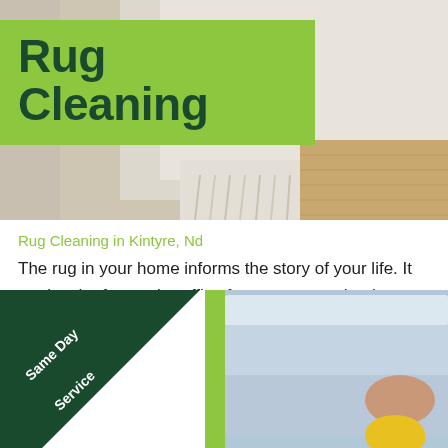[Figure (photo): Close-up photo of a rug with fringe detail, viewed from above, with light wooden floor visible]
Rug Cleaning
Rug Cleaning in Kintyre, Nd
The rug in your home informs the story of your life. It carries the foot web traffic of every person that has actually come over and tiny debris from the outdoors.
[Figure (illustration): Dark green triangular badge in the bottom-left corner with 'Same Day Service' text in white]
[Figure (photo): Photo of a person in yellow gloves rolling a light blue/grey rug, with a green stripe on the left edge]